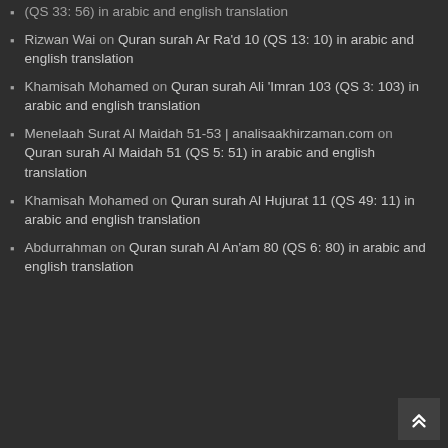(QS 33: 56) in arabic and english translation
Rizwan Wai on Quran surah Ar Ra'd 10 (QS 13: 10) in arabic and english translation
Khamisah Mohamed on Quran surah Ali 'Imran 103 (QS 3: 103) in arabic and english translation
Menelaah Surat Al Maidah 51-53 | analisaakhirzaman.com on Quran surah Al Maidah 51 (QS 5: 51) in arabic and english translation
Khamisah Mohamed on Quran surah Al Hujurat 11 (QS 49: 11) in arabic and english translation
Abdurrahman on Quran surah Al An'am 80 (QS 6: 80) in arabic and english translation